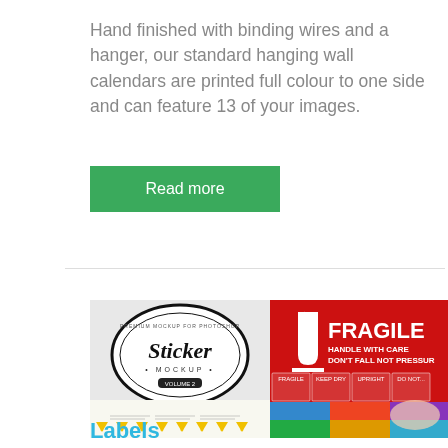Hand finished with binding wires and a hanger, our standard hanging wall calendars are printed full colour to one side and can feature 13 of your images.
Read more
[Figure (photo): Two images: left shows a round Sticker Mockup label and warning labels sheet; right shows a Fragile shipping label and colorful label roll being peeled.]
Labels